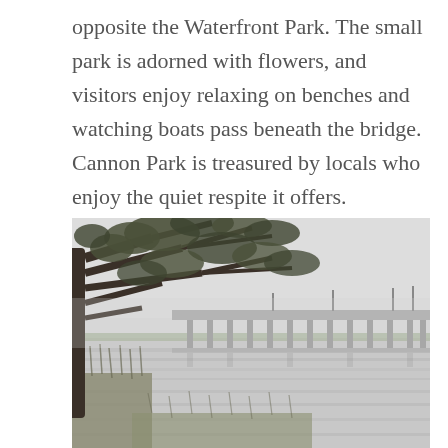opposite the Waterfront Park. The small park is adorned with flowers, and visitors enjoy relaxing on benches and watching boats pass beneath the bridge. Cannon Park is treasured by locals who enjoy the quiet respite it offers.
[Figure (photo): A misty, overcast photograph of a long bridge spanning calm water, viewed from a park shoreline with overhanging tree branches and marsh grasses in the foreground.]